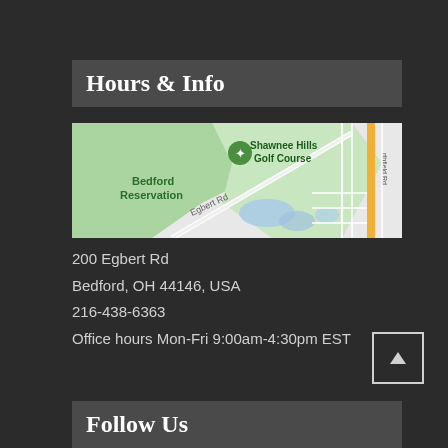Hours & Info
[Figure (map): Google Maps view showing Bedford Reservation, Shawnee Hills Golf Course, Egbert Rd, and Northfield Rd]
200 Egbert Rd
Bedford, OH 44146, USA
216-438-6363
Office hours Mon-Fri 9:00am-4:30pm EST
Follow Us